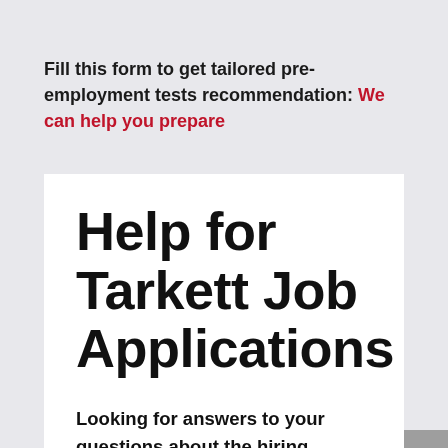Fill this form to get tailored pre-employment tests recommendation: We can help you prepare
Help for Tarkett Job Applications
Looking for answers to your questions about the hiring process at Tarkett? Look no further. Learn about applying, passing